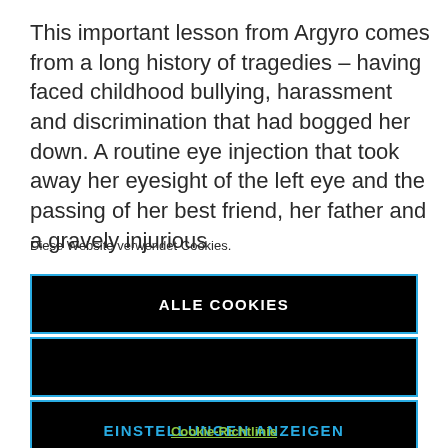This important lesson from Argyro comes from a long history of tragedies – having faced childhood bullying, harassment and discrimination that had bogged her down. A routine eye injection that took away her eyesight of the left eye and the passing of her best friend, her father and a gravely injurious
Diese Website verwendet Cookies.
ALLE COOKIES
EINSTELLUNGEN ANZEIGEN
Cookie-Richtlinie